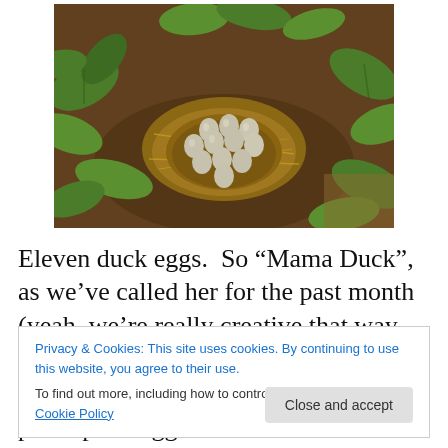[Figure (photo): A bird's nest in garden soil surrounded by green plants, containing eleven pale duck eggs arranged in a cluster.]
Eleven duck eggs.  So “Mama Duck”, as we’ve called her for the past month (yeah, we’re really creative that way. You’re lucky we didn’t name all my children Baby, Kid, and
Privacy & Cookies: This site uses cookies. By continuing to use this website, you agree to their use.
To find out more, including how to control cookies, see here: Cookie Policy
my boys got in big trouble for trying to pick up the eggs